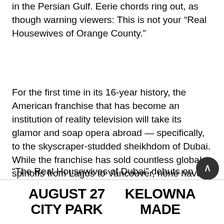in the Persian Gulf. Eerie chords ring out, as though warning viewers: This is not your “Real Housewives of Orange County.”
For the first time in its 16-year history, the American franchise that has become an institution of reality television will take its glamor and soap opera abroad — specifically, to the skyscraper-studded sheikhdom of Dubai. While the franchise has sold countless global spinoffs from Lagos to Vancouver, none have been produced by the Bravo network before.
“The Real Housewives of Dubai” debuts on Wednesday, inducting six new women into network’s crown jewel of catfights and marital meltdowns that is beloved, binged and
[Figure (other): Advertisement banner reading AUGUST 27 CITY PARK / KELOWNA MADE in bold black text]